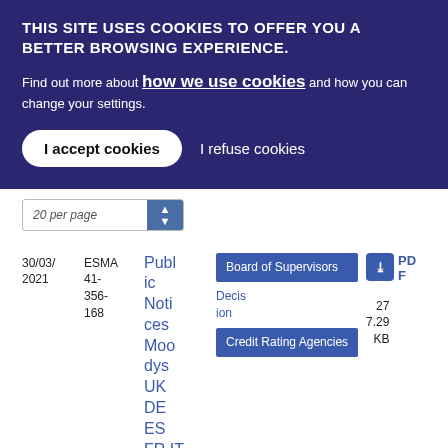THIS SITE USES COOKIES TO OFFER YOU A BETTER BROWSING EXPERIENCE.
Find out more about how we use cookies and how you can change your settings.
I accept cookies
I refuse cookies
20 per page
| Date | Reference | Title | Tags | Type | Download |
| --- | --- | --- | --- | --- | --- |
| 30/03/2021 | ESMA 41-356-168 | Public Notices Moodys UK DE ES FR IT | Board of Supervisors, Credit Rating Agencies | Decision | PDF 27 7.29 KB |